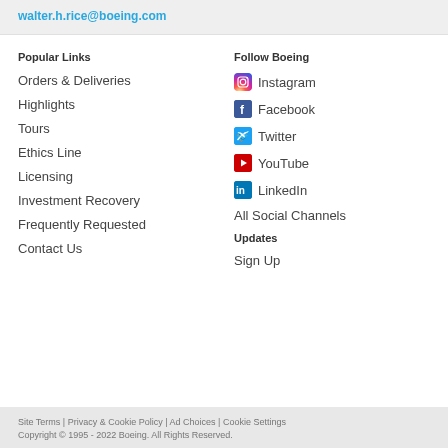walter.h.rice@boeing.com
Popular Links
Orders & Deliveries
Highlights
Tours
Ethics Line
Licensing
Investment Recovery
Frequently Requested
Contact Us
Follow Boeing
Instagram
Facebook
Twitter
YouTube
LinkedIn
All Social Channels
Updates
Sign Up
Site Terms | Privacy & Cookie Policy | Ad Choices | Cookie Settings
Copyright © 1995 - 2022 Boeing. All Rights Reserved.